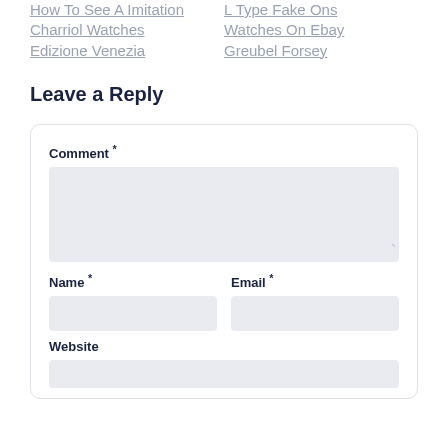How To See A Imitation Charriol Watches Edizione Venezia
L Type Fake Ons Watches On Ebay Greubel Forsey
Leave a Reply
Comment *
Name *
Email *
Website